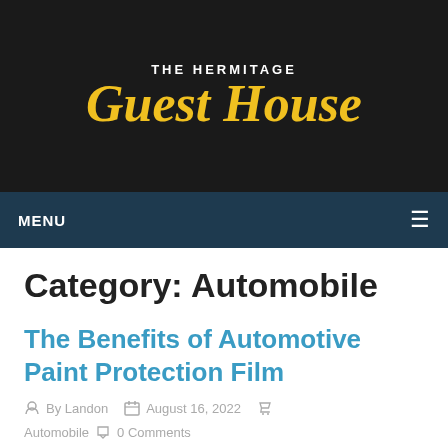[Figure (logo): The Hermitage Guest House logo with yellow script text on dark background]
MENU
Category: Automobile
The Benefits of Automotive Paint Protection Film
By Landon   August 16, 2022   Automobile   0 Comments
Paint Protection Film, or PPF in some cases alluded to as Clear Bra, is a thermoplastic urethane film which